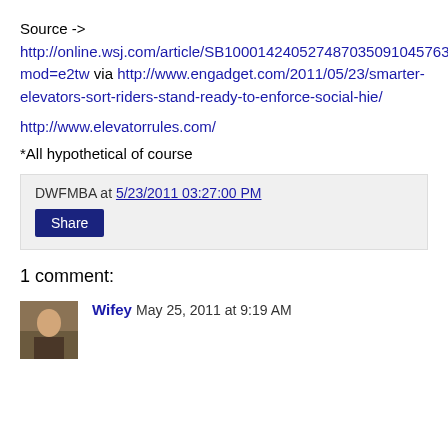Source -> http://online.wsj.com/article/SB10001424052748703509104576331044032063796.html?mod=e2tw via http://www.engadget.com/2011/05/23/smarter-elevators-sort-riders-stand-ready-to-enforce-social-hie/
http://www.elevatorrules.com/
*All hypothetical of course
DWFMBA at 5/23/2011 03:27:00 PM
Share
1 comment:
Wifey May 25, 2011 at 9:19 AM